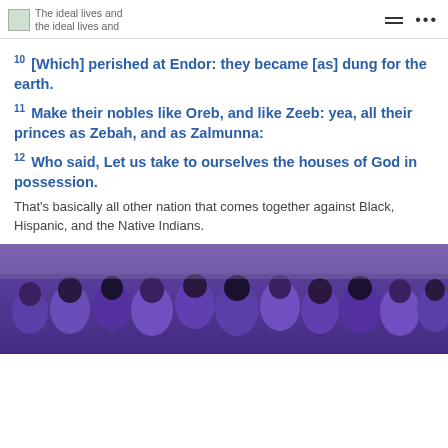The ideal lives and the ideal lives and
10 [Which] perished at Endor: they became [as] dung for the earth.
11 Make their nobles like Oreb, and like Zeeb: yea, all their princes as Zebah, and as Zalmunna:
12 Who said, Let us take to ourselves the houses of God in possession.
That's basically all other nation that comes together against Black, Hispanic, and the Native Indians.
[Figure (photo): Group photo of men wearing purple shirts standing together with fists raised]